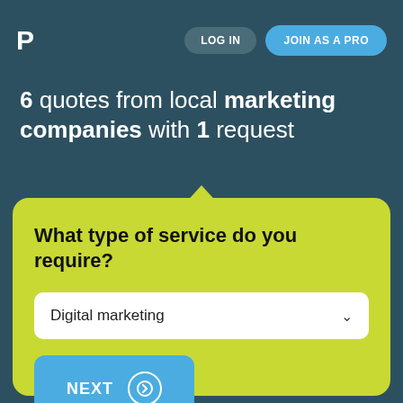P  LOG IN  JOIN AS A PRO
6 quotes from local marketing companies with 1 request
What type of service do you require?
Digital marketing
NEXT →